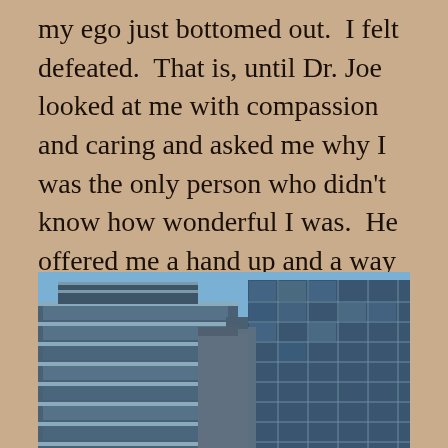my ego just bottomed out.  I felt defeated.  That is, until Dr. Joe looked at me with compassion and caring and asked me why I was the only person who didn't know how wonderful I was.  He offered me a hand up and a way out, through his complete and beautiful kindness.
[Figure (photo): Photograph of urban skyscrapers shot from a low angle against a blue sky. On the left is a shorter building with horizontal banding and glass facades; on the right is a taller glass-curtain-wall tower. Additional smaller buildings are visible in the background between them.]